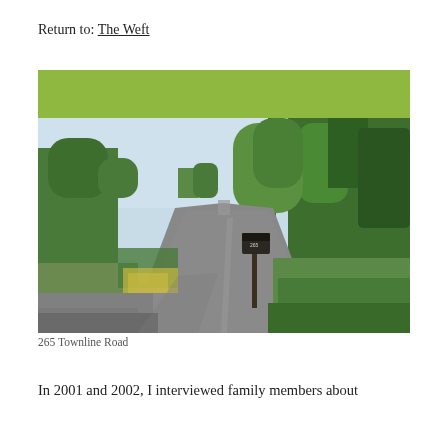Return to: The Weft
[Figure (photo): A rural two-lane road stretching into the distance, flanked by trees and greenery on both sides with a mailbox numbered 265 on the right shoulder. Blue sky visible in background.]
265 Townline Road
In 2001 and 2002, I interviewed family members about